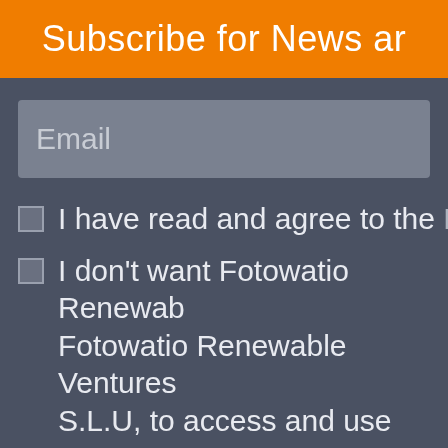Subscribe for News ar
Email
I have read and agree to the Pri
I don't want Fotowatio Renewab Fotowatio Renewable Ventures S.L.U, to access and use my pe of the described purposes in the
I don't want to receive commerc